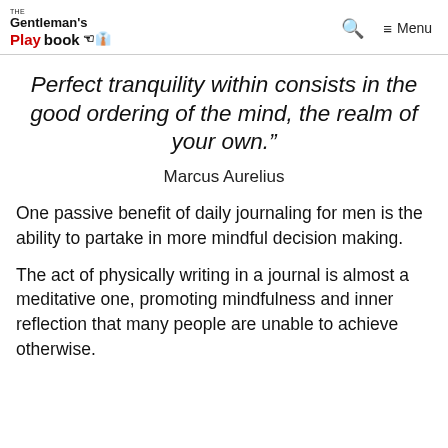The Gentleman's Playbook — Menu
Perfect tranquility within consists in the good ordering of the mind, the realm of your own."
Marcus Aurelius
One passive benefit of daily journaling for men is the ability to partake in more mindful decision making.
The act of physically writing in a journal is almost a meditative one, promoting mindfulness and inner reflection that many people are unable to achieve otherwise.